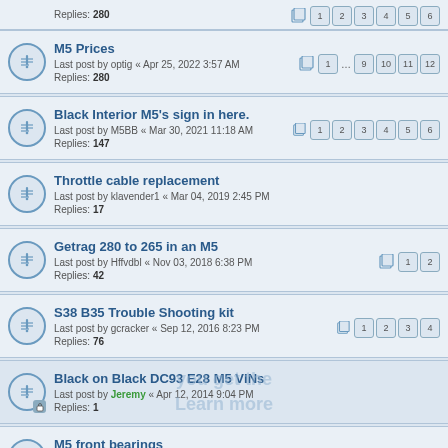Replies: 280 (partial top row, pages 1 ... 9 10 11 12)
M5 Prices
Last post by optig « Apr 25, 2022 3:57 AM
Replies: 280
Pages: 1 ... 9 10 11 12
Black Interior M5's sign in here.
Last post by M5BB « Mar 30, 2021 11:18 AM
Replies: 147
Pages: 1 2 3 4 5 6
Throttle cable replacement
Last post by klavender1 « Mar 04, 2019 2:45 PM
Replies: 17
Getrag 280 to 265 in an M5
Last post by Hffvdbl « Nov 03, 2018 6:38 PM
Replies: 42
Pages: 1 2
S38 B35 Trouble Shooting kit
Last post by gcracker « Sep 12, 2016 8:23 PM
Replies: 76
Pages: 1 2 3 4
Black on Black DC93 E28 M5 VINs
Last post by Jeremy « Apr 12, 2014 9:04 PM
Replies: 1
M5 front bearings
Last post by Abaky « Aug 21, 2022 2:05 AM
Replies: 15
ALAN WITH AN S38B35
Last post by alangarch « Aug 21, 2022 1:39 AM
Replies: 11